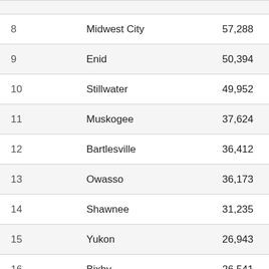| Rank | City | Population |
| --- | --- | --- |
| 8 | Midwest City | 57,288 |
| 9 | Enid | 50,394 |
| 10 | Stillwater | 49,952 |
| 11 | Muskogee | 37,624 |
| 12 | Bartlesville | 36,412 |
| 13 | Owasso | 36,173 |
| 14 | Shawnee | 31,235 |
| 15 | Yukon | 26,943 |
| 16 | Bixby | 26,541 |